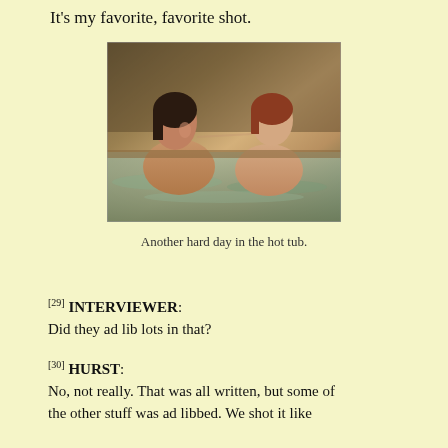It's my favorite, favorite shot.
[Figure (photo): Two people in a hot tub facing each other]
Another hard day in the hot tub.
[29] INTERVIEWER: Did they ad lib lots in that?
[30] HURST: No, not really. That was all written, but some of the other stuff was ad libbed. We shot it like